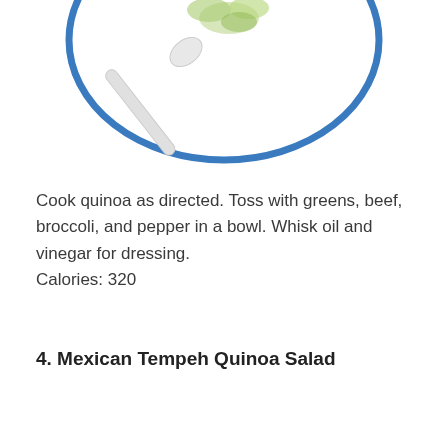[Figure (photo): Partial view of a white plate with blue rim containing a salad, and a white spoon/fork resting on it, viewed from above at an angle, cropped at the top of the page.]
Cook quinoa as directed. Toss with greens, beef, broccoli, and pepper in a bowl. Whisk oil and vinegar for dressing.
Calories: 320
4. Mexican Tempeh Quinoa Salad